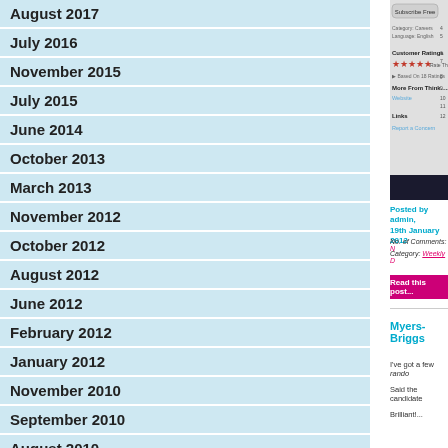August 2017
July 2016
November 2015
July 2015
June 2014
October 2013
March 2013
November 2012
October 2012
August 2012
June 2012
February 2012
January 2012
November 2010
September 2010
August 2010
[Figure (screenshot): Mobile app screenshot showing Subscribe Free button, Category: Careers, Language: English, Customer Ratings with 4 stars, Based On 18 Ratings, More From Think....., Website, Links, Report a Concern]
Posted by admin, 19th January 2012
No. of Comments: [number]
Category: Weekly D[igital]
Read this post...
Myers-Briggs
I've got a few rando[m thoughts...]
Said the candidate [...]
Brilliant!...